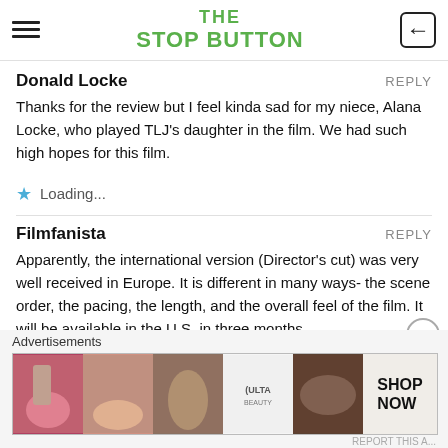THE STOP BUTTON
Donald Locke
Thanks for the review but I feel kinda sad for my niece, Alana Locke, who played TLJ's daughter in the film. We had such high hopes for this film.
Loading...
Filmfanista
Apparently, the international version (Director's cut) was very well received in Europe. It is different in many ways- the scene order, the pacing, the length, and the overall feel of the film. It will be available in the U.S. in three months.
Advertisements
[Figure (photo): Ulta Beauty advertisement banner with makeup/beauty imagery and SHOP NOW call to action]